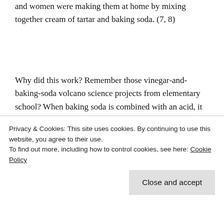and women were making them at home by mixing together cream of tartar and baking soda. (7, 8)
Why did this work? Remember those vinegar-and-baking-soda volcano science projects from elementary school? When baking soda is combined with an acid, it produces carbon dioxide gas–and cream of tartar is 100% acid. In batters, the gas creates air bubbles that make the batter expand; the expansion gets set when
Privacy & Cookies: This site uses cookies. By continuing to use this website, you agree to their use.
To find out more, including how to control cookies, see here: Cookie Policy
started using alum powder as a cheaper substitute for